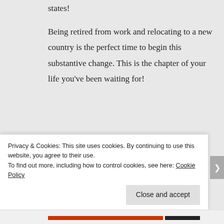states!
Being retired from work and relocating to a new country is the perfect time to begin this substantive change. This is the chapter of your life you’ve been waiting for!
[Figure (photo): Partial photo showing blue sky with clouds and a palm tree silhouette at the top right]
Privacy & Cookies: This site uses cookies. By continuing to use this website, you agree to their use.
To find out more, including how to control cookies, see here: Cookie Policy
Close and accept